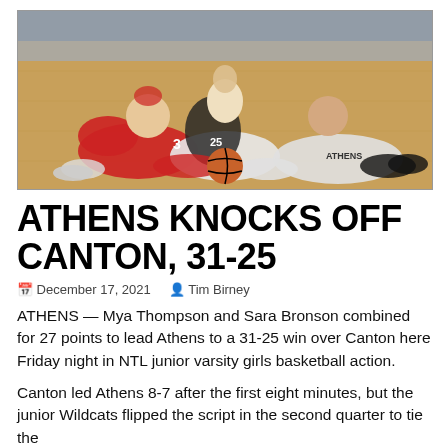[Figure (photo): Basketball players scrambling on the floor for a loose ball. Players in red uniforms and players in white Athens uniforms are tangled on the hardwood court floor.]
ATHENS KNOCKS OFF CANTON, 31-25
December 17, 2021   Tim Birney
ATHENS — Mya Thompson and Sara Bronson combined for 27 points to lead Athens to a 31-25 win over Canton here Friday night in NTL junior varsity girls basketball action.
Canton led Athens 8-7 after the first eight minutes, but the junior Wildcats flipped the script in the second quarter to tie the